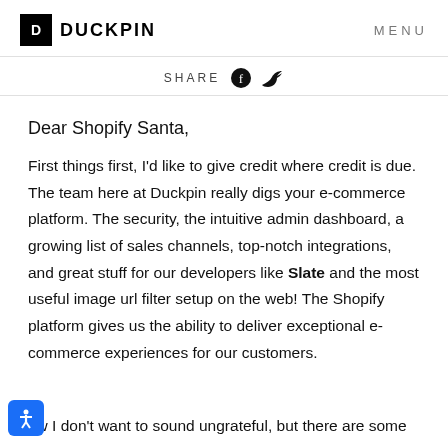DUCKPIN   MENU
SHARE
Dear Shopify Santa,
First things first, I'd like to give credit where credit is due. The team here at Duckpin really digs your e-commerce platform. The security, the intuitive admin dashboard, a growing list of sales channels, top-notch integrations, and great stuff for our developers like Slate and the most useful image url filter setup on the web! The Shopify platform gives us the ability to deliver exceptional e-commerce experiences for our customers.
ow I don't want to sound ungrateful, but there are some